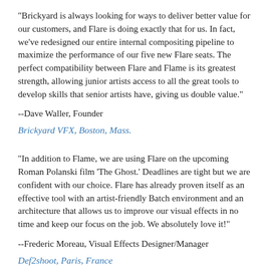"Brickyard is always looking for ways to deliver better value for our customers, and Flare is doing exactly that for us. In fact, we've redesigned our entire internal compositing pipeline to maximize the performance of our five new Flare seats. The perfect compatibility between Flare and Flame is its greatest strength, allowing junior artists access to all the great tools to develop skills that senior artists have, giving us double value."
--Dave Waller, Founder
Brickyard VFX, Boston, Mass.
"In addition to Flame, we are using Flare on the upcoming Roman Polanski film 'The Ghost.' Deadlines are tight but we are confident with our choice. Flare has already proven itself as an effective tool with an artist-friendly Batch environment and an architecture that allows us to improve our visual effects in no time and keep our focus on the job. We absolutely love it!"
--Frederic Moreau, Visual Effects Designer/Manager
Def2shoot, Paris, France